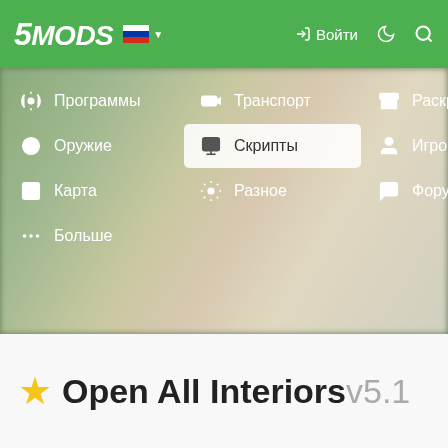[Figure (screenshot): 5MODS website header with green navigation bar showing logo '5MODS', Russian flag, login button, and navigation menu with categories: Программы, Транспорт, Раскраски, Оружие, Скрипты (highlighted/active), Игрок, Карта, Разное, Форумы, Больше — overlaid on a blurred game screenshot background]
⭐ Open All Interiors v5.1